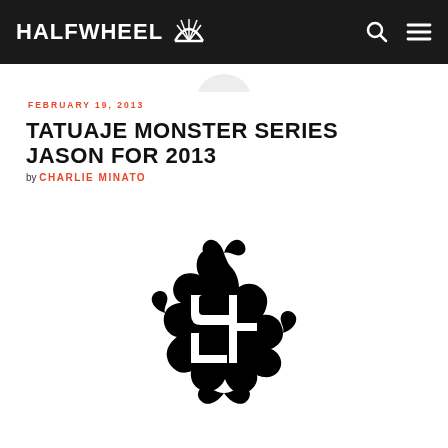HALFWHEEL
FEBRUARY 19, 2013
TATUAJE MONSTER SERIES JASON FOR 2013
by CHARLIE MINATO
[Figure (logo): Decorative black ornate monogram logo mark for Tatuaje, featuring stylized intertwined letters with elaborate curling flourishes and scrollwork]